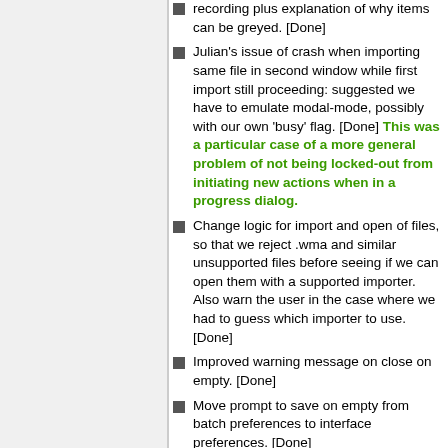recording plus explanation of why items can be greyed. [Done]
Julian's issue of crash when importing same file in second window while first import still proceeding: suggested we have to emulate modal-mode, possibly with our own 'busy' flag. [Done] This was a particular case of a more general problem of not being locked-out from initiating new actions when in a progress dialog.
Change logic for import and open of files, so that we reject .wma and similar unsupported files before seeing if we can open them with a supported importer. Also warn the user in the case where we had to guess which importer to use. [Done]
Improved warning message on close on empty. [Done]
Move prompt to save on empty from batch preferences to interface preferences. [Done]
Fix: Import Raw crashes Audacity when you select encodings from dropdown list [Done]